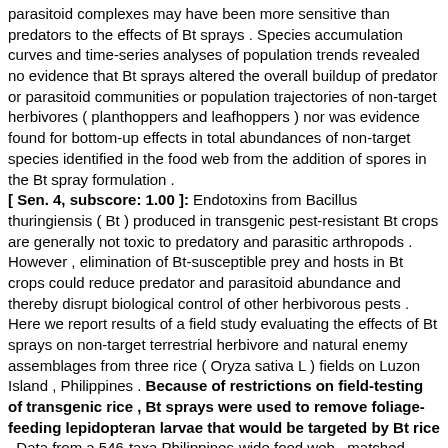parasitoid complexes may have been more sensitive than predators to the effects of Bt sprays . Species accumulation curves and time-series analyses of population trends revealed no evidence that Bt sprays altered the overall buildup of predator or parasitoid communities or population trajectories of non-target herbivores ( planthoppers and leafhoppers ) nor was evidence found for bottom-up effects in total abundances of non-target species identified in the food web from the addition of spores in the Bt spray formulation . [ Sen. 4, subscore: 1.00 ]: Endotoxins from Bacillus thuringiensis ( Bt ) produced in transgenic pest-resistant Bt crops are generally not toxic to predatory and parasitic arthropods . However , elimination of Bt-susceptible prey and hosts in Bt crops could reduce predator and parasitoid abundance and thereby disrupt biological control of other herbivorous pests . Here we report results of a field study evaluating the effects of Bt sprays on non-target terrestrial herbivore and natural enemy assemblages from three rice ( Oryza sativa L ) fields on Luzon Island , Philippines . Because of restrictions on field-testing of transgenic rice , Bt sprays were used to remove foliage-feeding lepidopteran larvae that would be targeted by Bt rice . Data from a 546-taxa Philippines-wide food web , matched abundance plots , species accumulation curves , time-series analysis , and ecostatistical tests for species richness and ranked abundance were used to compare different subsets of non-target herbivores , predators , and parasitoids in Bt sprayed and water-sprayed ( control ) plots . For whole communities of terrestrial predators and parasitoids , Bt sprays altered parasitoid richness in 3 of 3 sites and predator richness in 1 of 3 sites , as measured by rarefaction ( in half of these cases , richness was greater in Bt plots ) , while Spearman tests on ranked abundances showed that correlations , although significantly positive between all treatment pairs , were stronger for predators than for parasitoids , suggesting that parasitoid complexes may have been more sensitive than predators to